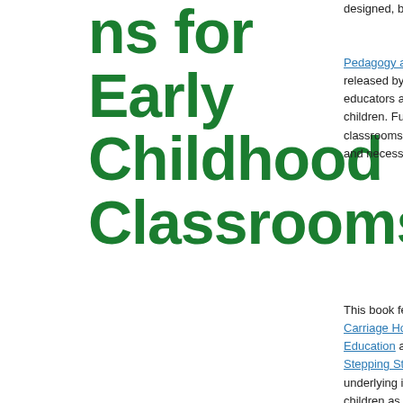ns for Early Childhood Classrooms
Posted by Patrick Webster
January 16, 2015
designed, beautiful a...
Pedagogy and Space (link) released by Redleaf Press educators and program children. Full of practi classrooms, common and necessary resou
This book features ph
Carriage House Childhood Education at Carnegi Stepping Stones Chil underlying influences children as individuals individual development thanks to Linda and a for over half a century
“This textbook pro that early childhood development and environments that